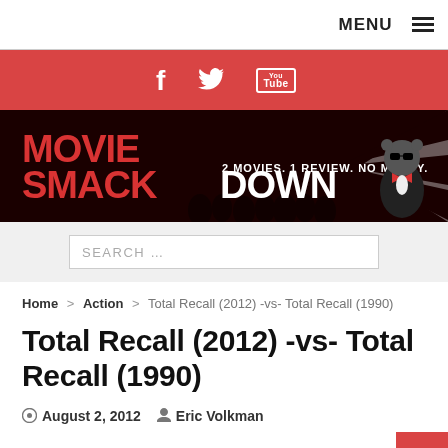MENU ≡
[Figure (illustration): Red social bar with Facebook, Twitter, and YouTube icons in white on red background]
[Figure (logo): Movie Smackdown logo: red text 'MOVIE SMACKDOWN' with tagline '2 MOVIES. 1 REVIEW. NO MERCY.' on dark background with silhouettes and a tuxedo bear character]
SEARCH ...
Home > Action > Total Recall (2012) -vs- Total Recall (1990)
Total Recall (2012) -vs- Total Recall (1990)
August 2, 2012   Eric Volkman